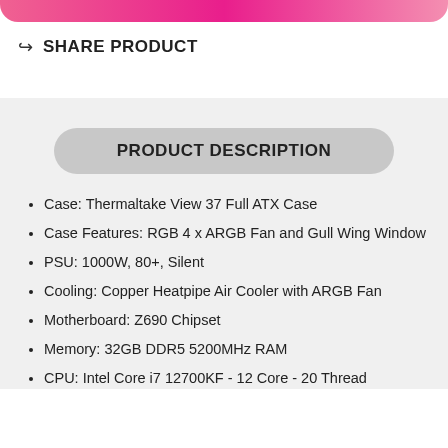SHARE PRODUCT
PRODUCT DESCRIPTION
Case: Thermaltake View 37 Full ATX Case
Case Features: RGB 4 x ARGB Fan and Gull Wing Window
PSU: 1000W, 80+, Silent
Cooling: Copper Heatpipe Air Cooler with ARGB Fan
Motherboard: Z690 Chipset
Memory: 32GB DDR5 5200MHz RAM
CPU: Intel Core i7 12700KF - 12 Core - 20 Thread